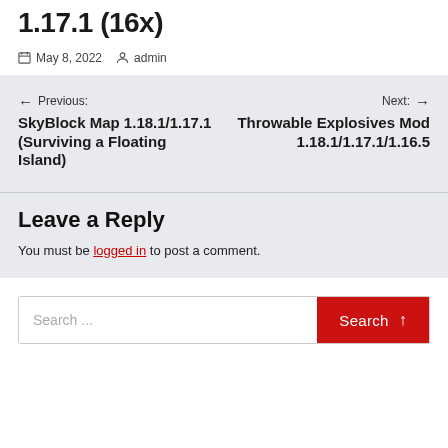1.17.1 (16x)
May 8, 2022   admin
← Previous: SkyBlock Map 1.18.1/1.17.1 (Surviving a Floating Island)
Next: → Throwable Explosives Mod 1.18.1/1.17.1/1.16.5
Leave a Reply
You must be logged in to post a comment.
Search ...